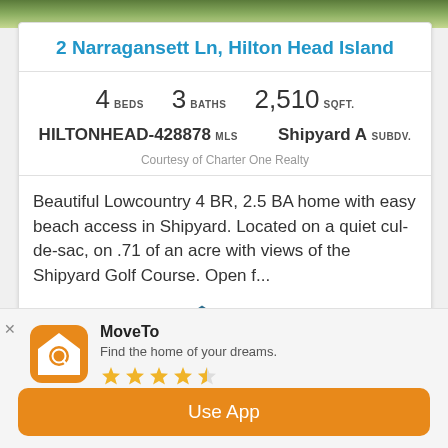[Figure (photo): Top portion of outdoor photo showing trees and greenery]
2 Narragansett Ln, Hilton Head Island
4 BEDS   3 BATHS   2,510 SQFT.   HILTONHEAD-428878 MLS   Shipyard A SUBDV.   Courtesy of Charter One Realty
Beautiful Lowcountry 4 BR, 2.5 BA home with easy beach access in Shipyard. Located on a quiet cul-de-sac, on .71 of an acre with views of the Shipyard Golf Course. Open f...
[Figure (logo): REsides IDX logo]
MoveTo
Find the home of your dreams.
[Figure (logo): MoveTo app icon with house and magnifying glass]
Use App